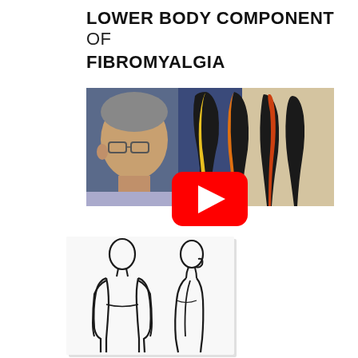LOWER BODY COMPONENT OF FIBROMYALGIA
[Figure (screenshot): Video thumbnail showing a man's face on the left with colorful abstract body silhouette artwork in the background, with a YouTube play button overlay]
[Figure (illustration): Two outline silhouettes of human bodies shown from the front-left and side views, depicting body posture diagrams]